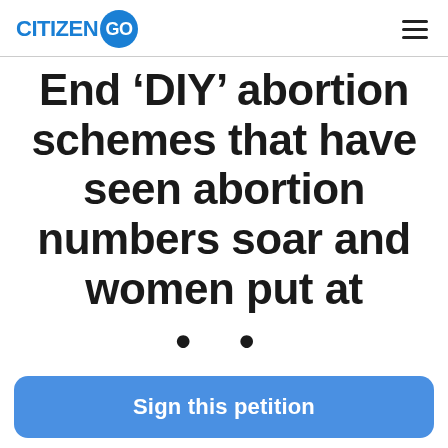CITIZENGO
End ‘DIY’ abortion schemes that have seen abortion numbers soar and women put at • •
Sign this petition